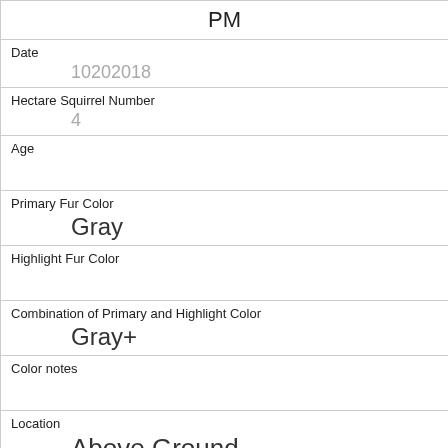| PM |
| Date | 10202018 |
| Hectare Squirrel Number | 4 |
| Age |  |
| Primary Fur Color | Gray |
| Highlight Fur Color |  |
| Combination of Primary and Highlight Color | Gray+ |
| Color notes |  |
| Location | Above Ground |
| Above Ground Sighter Measurement | 15 |
| Specific Location |  |